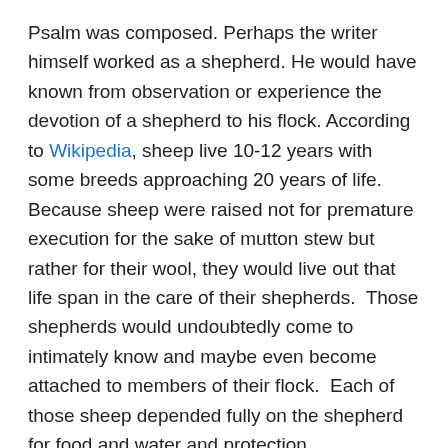Psalm was composed. Perhaps the writer himself worked as a shepherd. He would have known from observation or experience the devotion of a shepherd to his flock. According to Wikipedia, sheep live 10-12 years with some breeds approaching 20 years of life. Because sheep were raised not for premature execution for the sake of mutton stew but rather for their wool, they would live out that life span in the care of their shepherds.  Those shepherds would undoubtedly come to intimately know and maybe even become attached to members of their flock.  Each of those sheep depended fully on the shepherd for food and water and protection.
Sheep are quite helpless on their own.
Our judgment of the Psalmist's audacity will be tempered when we realize the logical extension of his metaphor.